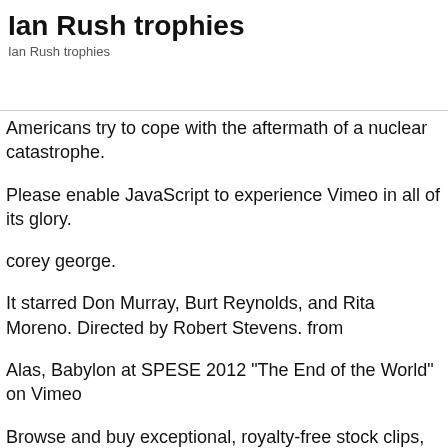Ian Rush trophies
Ian Rush trophies
Americans try to cope with the aftermath of a nuclear catastrophe.
Please enable JavaScript to experience Vimeo in all of its glory.
corey george.
It starred Don Murray, Burt Reynolds, and Rita Moreno. Directed by Robert Stevens. from
Alas, Babylon at SPESE 2012 "The End of the World" on Vimeo
Browse and buy exceptional, royalty-free stock clips, handpicked by the best. Get your team aligned with all the tools you need on one secure, reliable video platform. An adaptation of Alas, Babylon was broadcast on April 3, 1960, as the 131st episode of the Playhouse 90 dramatic television series. With Dana Andrews, Robert Crawford Jr., Judith Evelyn, Sino Gillesnie. Make social videos in an instant.